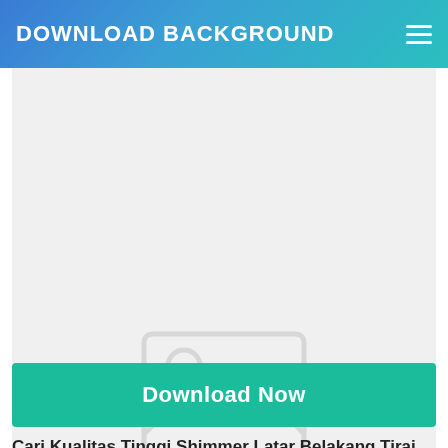DOWNLOAD BACKGROUND
[Figure (illustration): No Photo placeholder image with mountain and sun icon on a light gray background]
Download Now
Cari Kualitas Tinggi Shimmer Latar Belakang Tirai Dor...